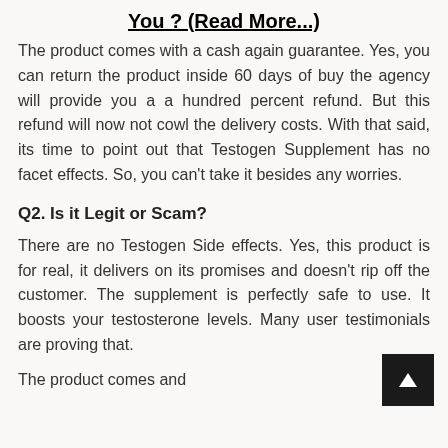You ? (Read More...)
The product comes with a cash again guarantee. Yes, you can return the product inside 60 days of buy the agency will provide you a a hundred percent refund. But this refund will now not cowl the delivery costs. With that said, its time to point out that Testogen Supplement has no facet effects. So, you can't take it besides any worries.
Q2. Is it Legit or Scam?
There are no Testogen Side effects. Yes, this product is for real, it delivers on its promises and doesn't rip off the customer. The supplement is perfectly safe to use. It boosts your testosterone levels. Many user testimonials are proving that.
The product comes and begins the product are for